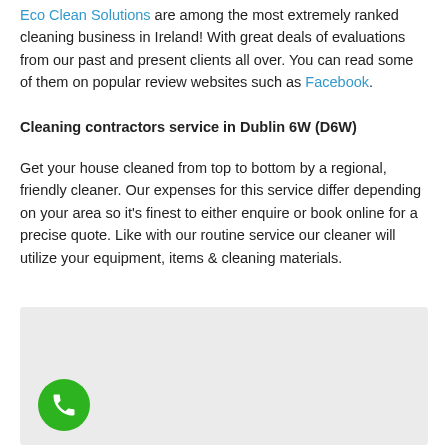Eco Clean Solutions are among the most extremely ranked cleaning business in Ireland! With great deals of evaluations from our past and present clients all over. You can read some of them on popular review websites such as Facebook.
Cleaning contractors service in Dublin 6W (D6W)
Get your house cleaned from top to bottom by a regional, friendly cleaner. Our expenses for this service differ depending on your area so it's finest to either enquire or book online for a precise quote. Like with our routine service our cleaner will utilize your equipment, items & cleaning materials.
[Figure (map): Light grey map placeholder box with a green phone call button in the lower left corner]